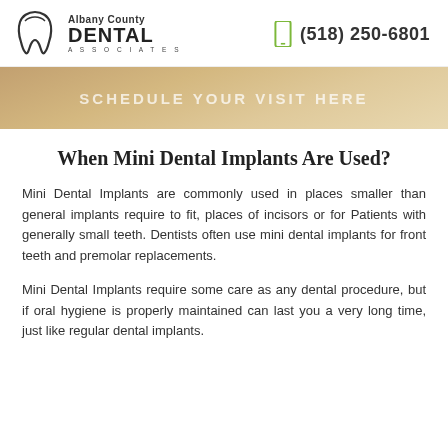Albany County Dental Associates | (518) 250-6801
[Figure (photo): Tan/beige banner with text SCHEDULE YOUR VISIT HERE]
When Mini Dental Implants Are Used?
Mini Dental Implants are commonly used in places smaller than general implants require to fit, places of incisors or for Patients with generally small teeth. Dentists often use mini dental implants for front teeth and premolar replacements.
Mini Dental Implants require some care as any dental procedure, but if oral hygiene is properly maintained can last you a very long time, just like regular dental implants.